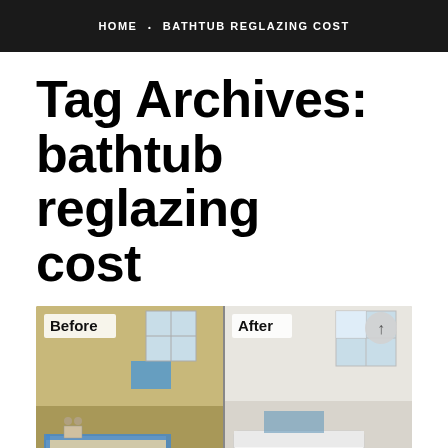HOME • BATHTUB REGLAZING COST
Tag Archives: bathtub reglazing cost
[Figure (photo): Before and after side-by-side photo of a bathtub reglazing project. Left panel labeled 'Before' shows a yellowed/worn bathtub with blue painter's tape. Right panel labeled 'After' shows a bright white refinished bathtub.]